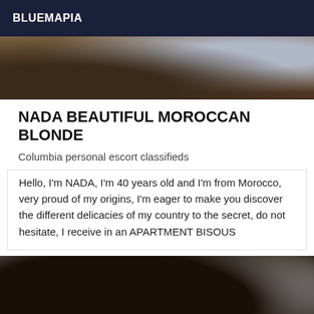BLUEMAPIA
[Figure (photo): Partial photo cropped at top, showing indoor scene with warm tones]
NADA BEAUTIFUL MOROCCAN BLONDE
Columbia personal escort classifieds
Hello, I'm NADA, I'm 40 years old and I'm from Morocco, very proud of my origins, I'm eager to make you discover the different delicacies of my country to the secret, do not hesitate, I receive in an APARTMENT BISOUS
[Figure (photo): Woman with dark hair seen from behind, wearing black lingerie, indoor setting]